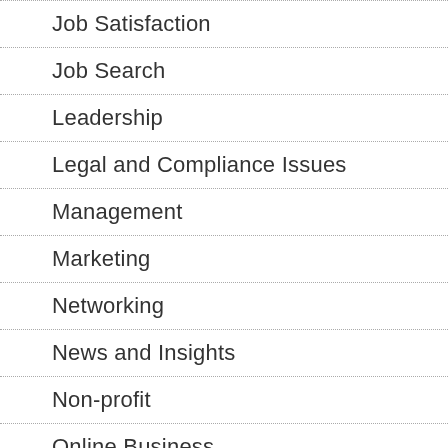Job Satisfaction
Job Search
Leadership
Legal and Compliance Issues
Management
Marketing
Networking
News and Insights
Non-profit
Online Business
Operations
Personal Development